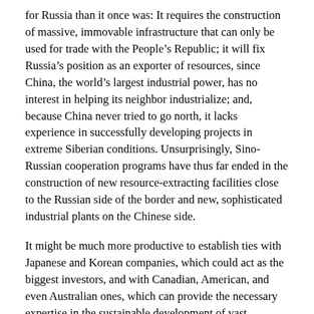for Russia than it once was: It requires the construction of massive, immovable infrastructure that can only be used for trade with the People's Republic; it will fix Russia's position as an exporter of resources, since China, the world's largest industrial power, has no interest in helping its neighbor industrialize; and, because China never tried to go north, it lacks experience in successfully developing projects in extreme Siberian conditions. Unsurprisingly, Sino-Russian cooperation programs have thus far ended in the construction of new resource-extracting facilities close to the Russian side of the border and new, sophisticated industrial plants on the Chinese side.
It might be much more productive to establish ties with Japanese and Korean companies, which could act as the biggest investors, and with Canadian, American, and even Australian ones, which can provide the necessary expertise in the sustainable development of vast, resource-rich regions. Stronger ties with these nations would also reduce the geopolitical risk: Russia must beware of a Chinese attempt to “re-colonize” its colony, as Beijing has already resettled large numbers of